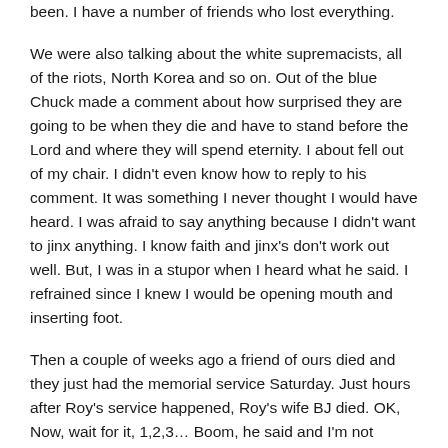been. I have a number of friends who lost everything.
We were also talking about the white supremacists, all of the riots, North Korea and so on. Out of the blue Chuck made a comment about how surprised they are going to be when they die and have to stand before the Lord and where they will spend eternity. I about fell out of my chair. I didn't even know how to reply to his comment. It was something I never thought I would have heard. I was afraid to say anything because I didn't want to jinx anything. I know faith and jinx's don't work out well. But, I was in a stupor when I heard what he said. I refrained since I knew I would be opening mouth and inserting foot.
Then a couple of weeks ago a friend of ours died and they just had the memorial service Saturday. Just hours after Roy's service happened, Roy's wife BJ died. OK, Now, wait for it, 1,2,3… Boom, he said and I'm not kidding, he said that at-least Roy and BJ are with each other and wait for it, 1, 2, and 3, in